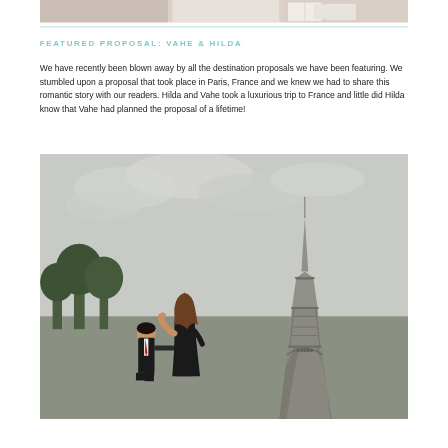[Figure (photo): Top portion of a photo showing what appears to be gift boxes or accessories on a white background]
FEATURED PROPOSAL: VAHE & HILDA
We have recently been blown away by all the destination proposals we have been featuring. We stumbled upon a proposal that took place in Paris, France and we knew we had to share this romantic story with our readers. Hilda and Vahe took a luxurious trip to France and little did Hilda know that Vahe had planned the proposal of a lifetime!
[Figure (photo): A man on one knee proposing to a woman in a black dress in front of the Eiffel Tower in Paris, France. The sky is overcast and there are green trees in the background.]